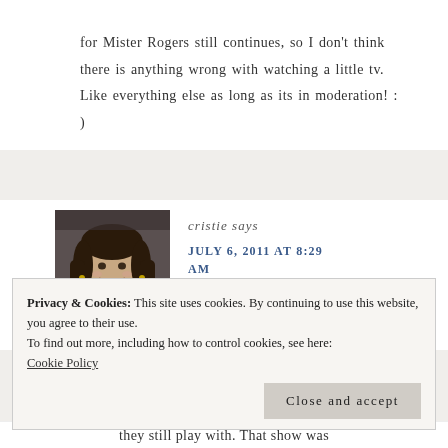for Mister Rogers still continues, so I don't think there is anything wrong with watching a little tv. Like everything else as long as its in moderation! : )
[Figure (photo): Profile photo of commenter cristie, a woman with dark hair, smiling, wearing a dark top]
cristie says
JULY 6, 2011 AT 8:29 AM
Privacy & Cookies: This site uses cookies. By continuing to use this website, you agree to their use.
To find out more, including how to control cookies, see here: Cookie Policy
Close and accept
they still play with. That show was